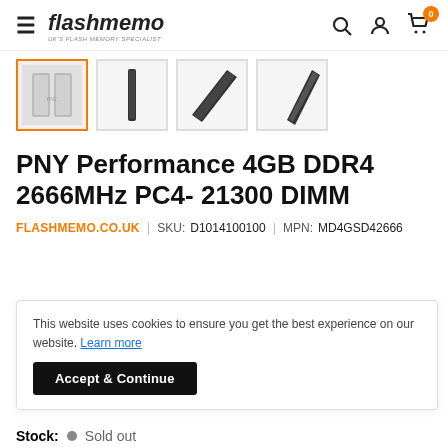flashmemo - UK'S FLASH MEMORY SPECIALIST
[Figure (photo): Product thumbnails: 4 images of PNY DDR4 RAM stick, first selected with orange border]
PNY Performance 4GB DDR4 2666MHz PC4- 21300 DIMM
FLASHMEMO.CO.UK | SKU: D1014100100 | MPN: MD4GSD42666
This website uses cookies to ensure you get the best experience on our website. Learn more
Accept & Continue
Stock: Sold out